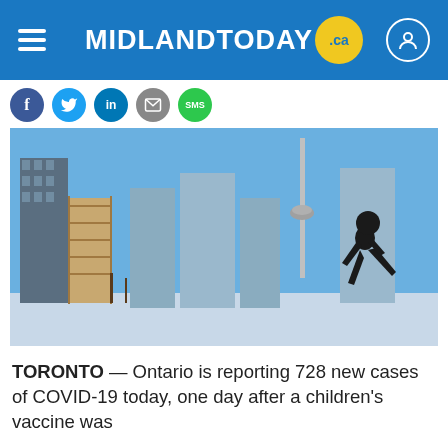MIDLANDTODAY.ca
[Figure (photo): Silhouette of a person walking across a snowy urban landscape with the Toronto CN Tower and city skyline visible in the background under a clear blue sky.]
TORONTO — Ontario is reporting 728 new cases of COVID-19 today, one day after a children's vaccine was